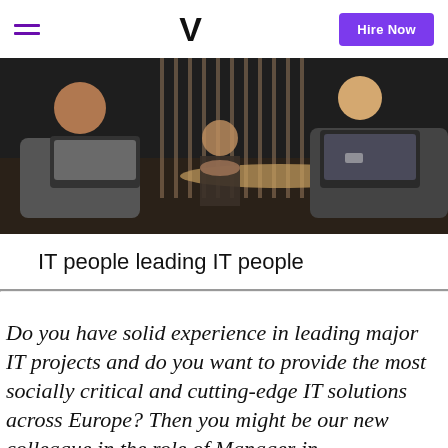V  Hire Now
[Figure (photo): People sitting around a table with laptops open, viewed from the side in a dimly lit room with vertical slatted backdrop.]
IT people leading IT people
Do you have solid experience in leading major IT projects and do you want to provide the most socially critical and cutting-edge IT solutions across Europe? Then you might be our new colleague in the role of Manager in